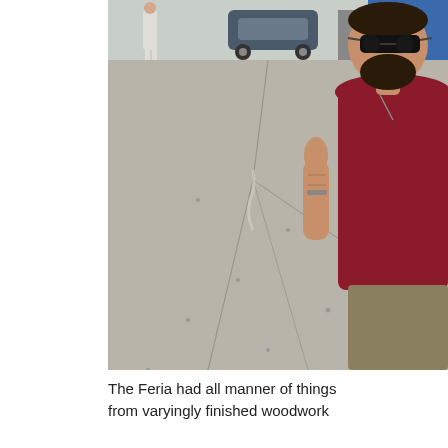[Figure (photo): Outdoor photo of a man with a beard wearing sunglasses and a dark red/maroon short-sleeve shirt, giving a thumbs up. He stands on a cracked concrete parking lot or street. In the background there is a person walking, a vintage car parked, and some structures/buildings. Bright sunny day.]
The Feria had all manner of things from varyingly finished woodwork